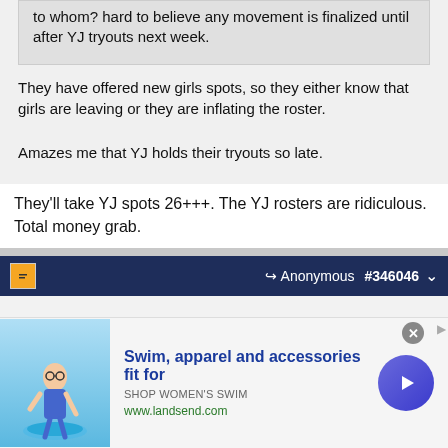to whom? hard to believe any movement is finalized until after YJ tryouts next week.
They have offered new girls spots, so they either know that girls are leaving or they are inflating the roster.

Amazes me that YJ holds their tryouts so late.
They'll take YJ spots 26+++. The YJ rosters are ridiculous. Total money grab.
Anonymous #346046
Anonymous
Unregistered
Originally Posted by Anonymous
[Figure (screenshot): Advertisement banner for Lands' End swim apparel featuring a woman in a swimsuit, with text 'Swim, apparel and accessories fit for', 'SHOP WOMEN'S SWIM', 'www.landsend.com']